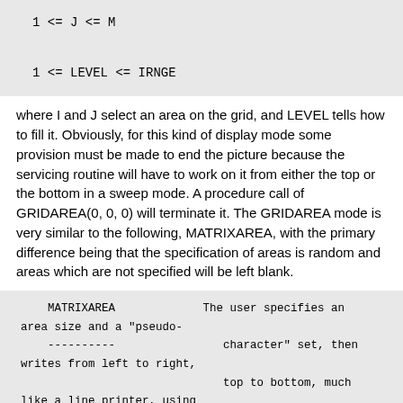where I and J select an area on the grid, and LEVEL tells how to fill it. Obviously, for this kind of display mode some provision must be made to end the picture because the servicing routine will have to work on it from either the top or the bottom in a sweep mode. A procedure call of GRIDAREA(0, 0, 0) will terminate it. The GRIDAREA mode is very similar to the following, MATRIXAREA, with the primary difference being that the specification of areas is random and areas which are not specified will be left blank.
MATRIXAREA          The user specifies an area size and a "pseudo-
----------          character" set, then writes from left to right,
                    top to bottom, much like a line printer, using